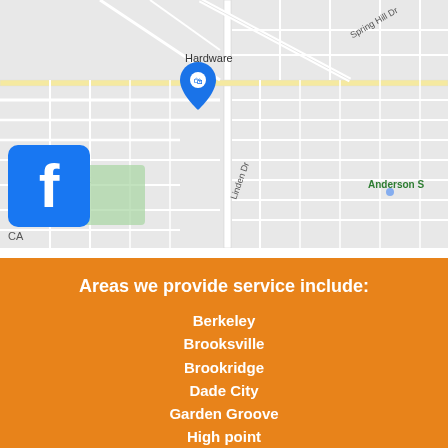[Figure (map): Google Maps screenshot showing a street map with roads, residential blocks, Veterans Memorial Park (green area), Spring Hill Dr, Linden Dr, Anderson S labels, a blue map pin marker near 'Hardware' label, and a Facebook logo overlay in the bottom-left of the map image.]
Areas we provide service include:
Berkeley
Brooksville
Brookridge
Dade City
Garden Groove
High point
Masaryktown